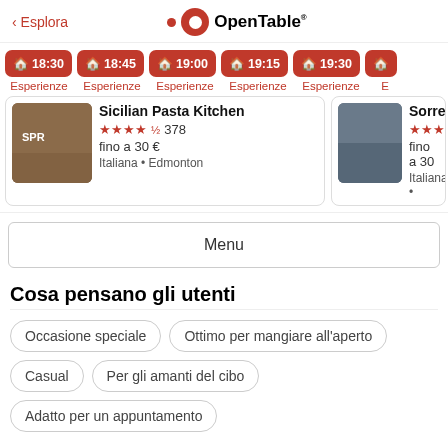< Esplora   OpenTable
18:30 Esperienze
18:45 Esperienze
19:00 Esperienze
19:15 Esperienze
19:30 Esperienze
Sicilian Pasta Kitchen
★★★★½ 378
fino a 30 €
Italiana • Edmonton
Sorre...
★★★★
fino a 30
Italiana •
Menu
Cosa pensano gli utenti
Occasione speciale
Ottimo per mangiare all'aperto
Casual
Per gli amanti del cibo
Adatto per un appuntamento